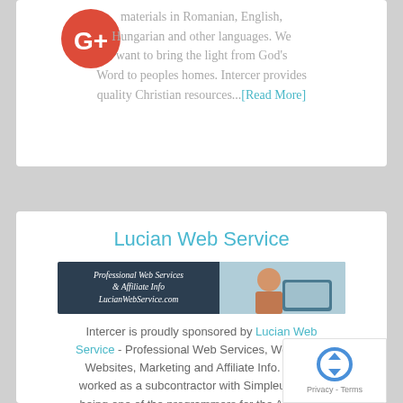[Figure (logo): Google+ circular red icon with white G+ text]
materials in Romanian, English, Hungarian and other languages. We want to bring the light from God's Word to peoples homes. Intercer provides quality Christian resources...[Read More]
Lucian Web Service
[Figure (screenshot): Banner image for LucianWebService.com showing 'Professional Web Services & Affiliate Info LucianWebService.com' on dark background with a woman smiling with a tablet]
Intercer is proudly sponsored by Lucian Web Service - Professional Web Services, Wordpress Websites, Marketing and Affiliate Info. Lucian worked as a subcontractor with Simpleupdates, being one of the programmers for the Adventist Church Connect software. He also presented